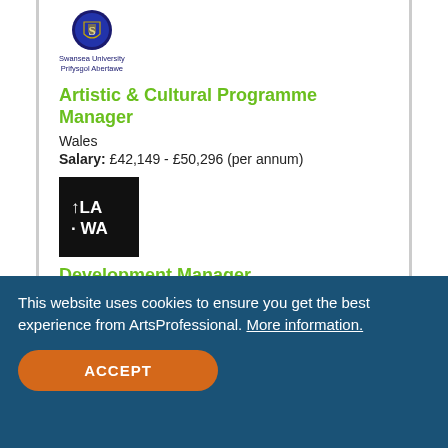[Figure (logo): Swansea University / Prifysgol Abertawe crest and text logo]
Artistic & Cultural Programme Manager
Wales
Salary: £42,149 - £50,296 (per annum)
[Figure (logo): Talawa black square logo with white text reading ↑LA . WA]
Development Manager
London
Salary: £35,000 - £35,000 (per annum)
This website uses cookies to ensure you get the best experience from ArtsProfessional. More information.
ACCEPT